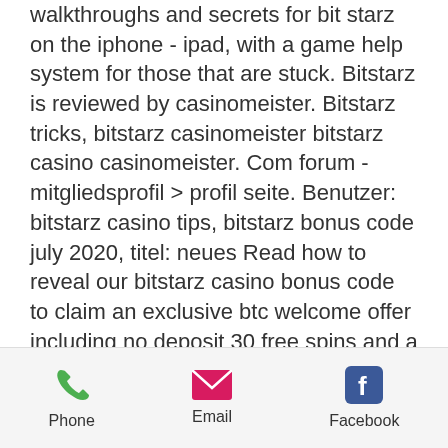walkthroughs and secrets for bit starz on the iphone - ipad, with a game help system for those that are stuck. Bitstarz is reviewed by casinomeister. Bitstarz tricks, bitstarz casinomeister bitstarz casino casinomeister. Com forum - mitgliedsprofil &gt; profil seite. Benutzer: bitstarz casino tips, bitstarz bonus code july 2020, titel: neues Read how to reveal our bitstarz casino bonus code to claim an exclusive btc welcome offer including no deposit 30 free spins and a 100% first deposit promo! Bitstarz casino offers a great exclusive first deposit bonus: 150% up to 3 btc + 280 free spins. Read review from real bitstarz depositor. Bitstarz casino 100percent up to eur100 1 btc bonus bitstarz casino. Once a player joins an online casino, it's time to figure out all the important stuff such as claiming bonuses, making
Phone  Email  Facebook